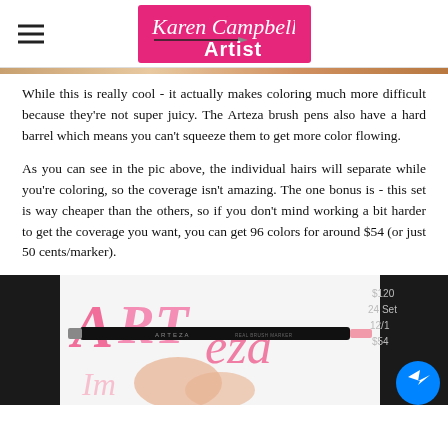Karen Campbell Artist
While this is really cool - it actually makes coloring much more difficult because they're not super juicy. The Arteza brush pens also have a hard barrel which means you can't squeeze them to get more color flowing.
As you can see in the pic above, the individual hairs will separate while you're coloring, so the coverage isn't amazing. The one bonus is - this set is way cheaper than the others, so if you don't mind working a bit harder to get the coverage you want, you can get 96 colors for around $54 (or just 50 cents/marker).
[Figure (photo): Photo of an Arteza brush marker pen being held near paper with pink lettering/calligraphy. Price notes visible on right side: $120, 24 set, 12/1, $54. Dark background.]